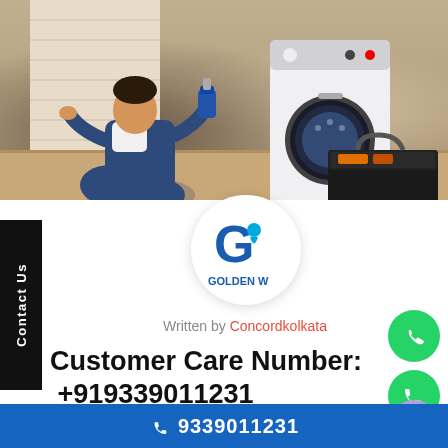[Figure (photo): Technician in blue overalls kneeling by a front-loading washing machine, holding a detergent bottle. A black toolbox is on the right side.]
[Figure (logo): Golden W company logo — circular white badge with a blue G letter and text 'GOLDEN W' below]
Written by Concordkolkata
Customer Care Number: +919339011231
Samsung is a branded company. Which has provided of its electronic items. In the same way, this brand h
9339011231